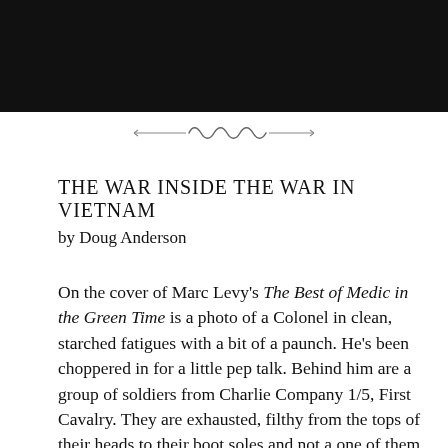[Figure (photo): Dark/black photograph at the top of the page, cropped at the bottom, showing a dark textured background.]
[Figure (illustration): Decorative ornamental divider with a swirling wave motif flanked by horizontal lines.]
THE WAR INSIDE THE WAR IN VIETNAM
by Doug Anderson
On the cover of Marc Levy's The Best of Medic in the Green Time is a photo of a Colonel in clean, starched fatigues with a bit of a paunch. He's been choppered in for a little pep talk. Behind him are a group of soldiers from Charlie Company 1/5, First Cavalry. They are exhausted, filthy from the tops of their heads to their boot soles and not a one of them is smiling. This unit saw some of the nastiest fighting of the Vietnam War against crack PAVN troops both in Vietnam and across